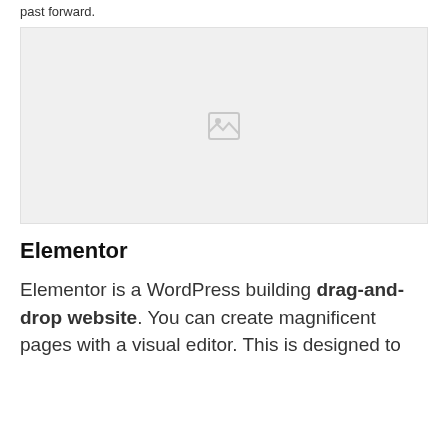past forward.
[Figure (photo): Image placeholder with a broken/missing image icon centered in a light gray rectangle]
Elementor
Elementor is a WordPress building drag-and-drop website. You can create magnificent pages with a visual editor. This is designed to